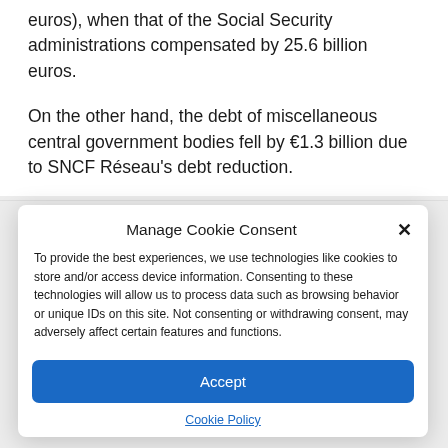euros), when that of the Social Security administrations compensated by 25.6 billion euros.
On the other hand, the debt of miscellaneous central government bodies fell by €1.3 billion due to SNCF Réseau's debt reduction.
Manage Cookie Consent
To provide the best experiences, we use technologies like cookies to store and/or access device information. Consenting to these technologies will allow us to process data such as browsing behavior or unique IDs on this site. Not consenting or withdrawing consent, may adversely affect certain features and functions.
Accept
Cookie Policy